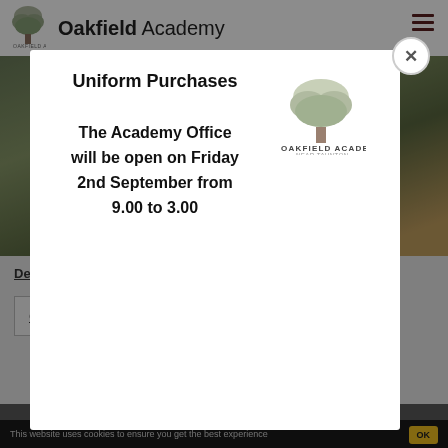Oakfield Academy
[Figure (screenshot): Hero banner with trees/landscape background and text DESIGN AND partially visible]
Design and Technology Little Lessons
Cook-Along with Miss Nightingale
[Figure (screenshot): Modal popup with Oakfield Academy logo, title 'Uniform Purchases', and body text 'The Academy Office will be open on Friday 2nd September from 9.00 to 3.00']
This website uses cookies to ensure you get the best experience